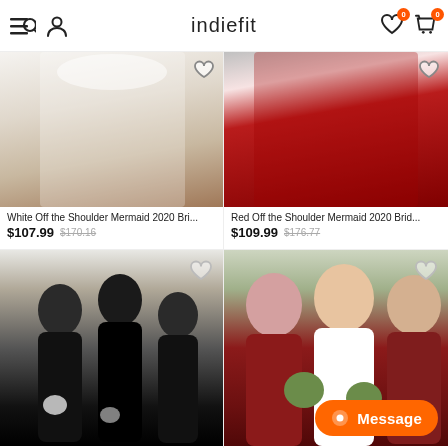indiefit
[Figure (photo): White off-the-shoulder mermaid wedding dress product photo showing lower portion of dress with sandals]
White Off the Shoulder Mermaid 2020 Bri...
$107.99  $170.16
[Figure (photo): Red off-the-shoulder mermaid wedding dress product photo showing lower portion of red gown]
Red Off the Shoulder Mermaid 2020 Brid...
$109.99  $176.77
[Figure (photo): Black off-the-shoulder bridesmaid dresses worn by group of women with bouquets, bride in white]
[Figure (photo): Bridesmaids in dark red/burgundy off-shoulder dresses with bride in white, holding floral bouquets outdoors]